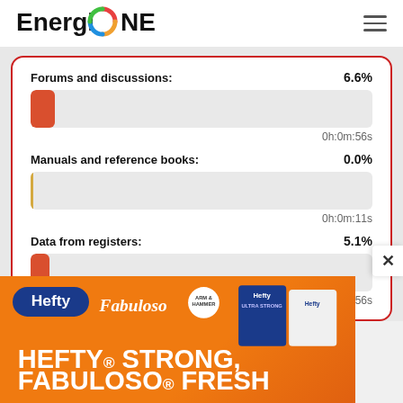[Figure (logo): EnergioNE logo with colorful circular O icon]
[Figure (infographic): Horizontal bar chart UI showing three metrics: Forums and discussions 6.6% (0h:0m:56s), Manuals and reference books 0.0% (0h:0m:11s), Data from registers 5.1% (0h:0m:56s)]
[Figure (photo): Hefty and Fabuloso advertisement banner with orange background, text HEFTY STRONG FABULOSO FRESH]